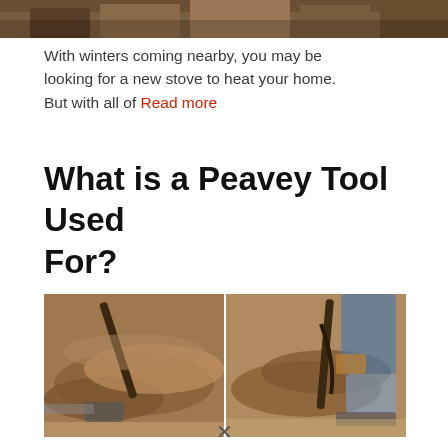[Figure (photo): Top portion of an indoor/barn scene, partially cropped]
With winters coming nearby, you may be looking for a new stove to heat your home. But with all of Read more
What is a Peavey Tool Used For?
[Figure (photo): Two side-by-side photos showing a person using a peavey tool to move large logs on the ground]